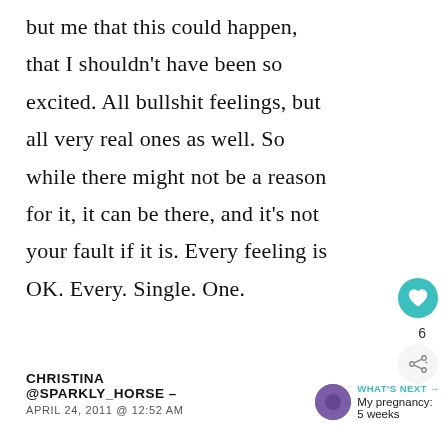but me that this could happen, that I shouldn't have been so excited. All bullshit feelings, but all very real ones as well. So while there might not be a reason for it, it can be there, and it's not your fault if it is. Every feeling is OK. Every. Single. One.
CHRISTINA @SPARKLY_HORSE – APRIL 24, 2011 @ 12:52 AM